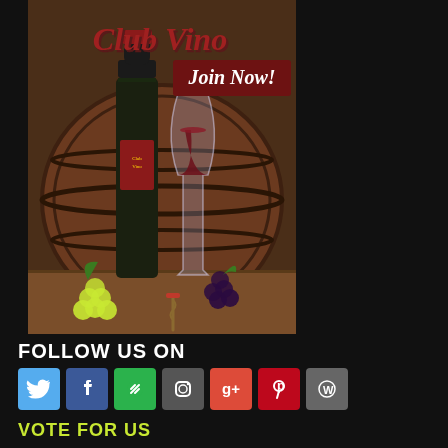[Figure (illustration): Club Vino wine club advertisement showing a wine bottle, wine glass filled with red wine, grapes, and a wooden barrel. Script text 'Club Vino' at top and a dark red button 'Join Now!']
FOLLOW US ON
[Figure (infographic): Row of social media icons: Twitter (blue bird), Facebook (blue f), Feedly (green), Instagram (grey camera), Google+ (red g+), Pinterest (red p), WordPress (grey W)]
VOTE FOR US
[Figure (infographic): Three badges: Ranking Arizona (orange/red text), Best (appstella.com best badge), and Join Our E-Mail List (blue button)]